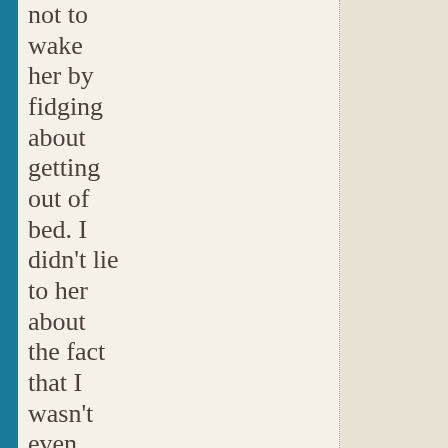not to wake her by fidging about getting out of bed. I didn't lie to her about the fact that I wasn't even home and that I was